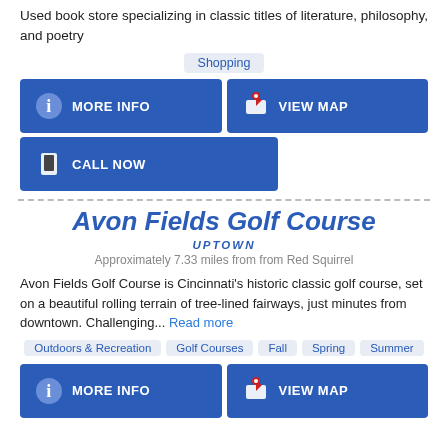Used book store specializing in classic titles of literature, philosophy, and poetry
Shopping
MORE INFO | VIEW MAP | CALL NOW
Avon Fields Golf Course
UPTOWN
Approximately 7.33 miles from from Red Squirrel
Avon Fields Golf Course is Cincinnati's historic classic golf course, set on a beautiful rolling terrain of tree-lined fairways, just minutes from downtown. Challenging... Read more
Outdoors & Recreation | Golf Courses | Fall | Spring | Summer
MORE INFO | VIEW MAP